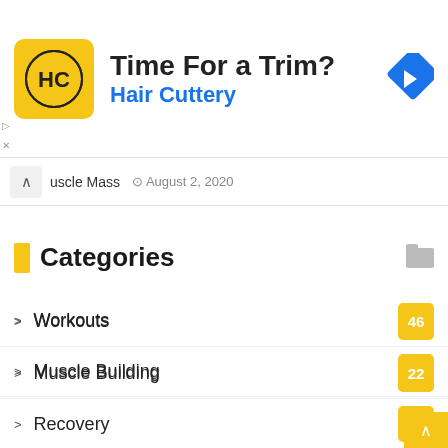[Figure (screenshot): Advertisement banner for Hair Cuttery with yellow logo, arrow icon, and text 'Time For a Trim? Hair Cuttery']
uscle Mass  August 2, 2020
Categories
Workouts  46
Muscle Building  22
Recovery  6
Supplements  4
Injuries & Prevention  3
Equipment  2